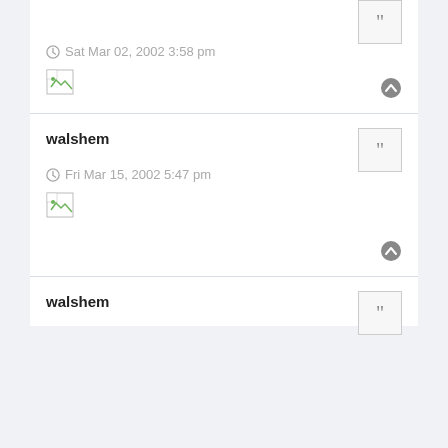Sat Mar 02, 2002 3:58 pm
[Figure (other): Broken image placeholder icon]
walshem
Fri Mar 15, 2002 5:47 pm
[Figure (other): Broken image placeholder icon]
walshem